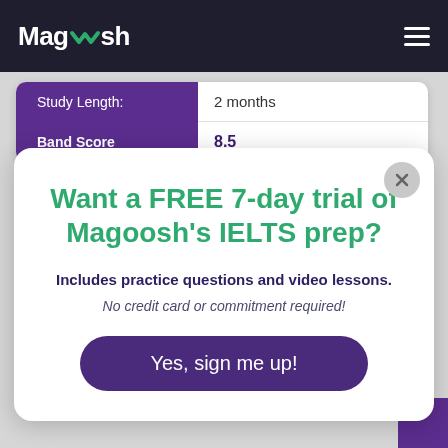Magoosh
|  |  |
| --- | --- |
| Study Length: | 2 months |
| Band Score | 8.5 |
Want a FREE 7-day trial of Magoosh's IELTS prep?
Includes practice questions and video lessons.
No credit card or commitment required!
Yes, sign me up!